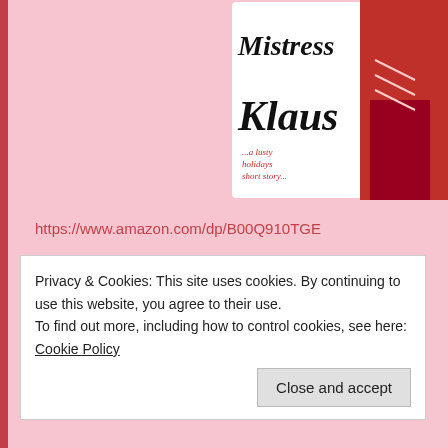[Figure (illustration): Book cover for 'Mistress Klaus - a lusty holiday short story' with red high heel boot and stylized text]
https://www.amazon.com/dp/B00Q910TGE
Santa's Gift (Lusty Holidays) ($0.99)
https://www.amazon.com/dp/B00Q8UK86M
Lynda Belle
Privacy & Cookies: This site uses cookies. By continuing to use this website, you agree to their use.
To find out more, including how to control cookies, see here: Cookie Policy
Close and accept